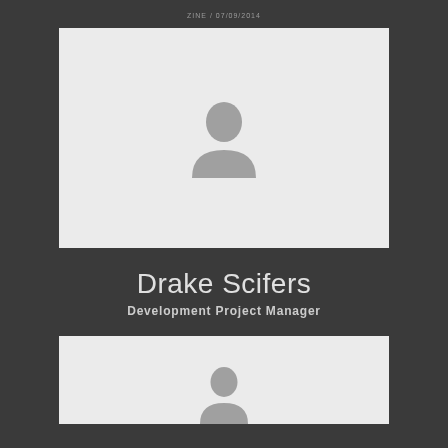ZINE / 07/09/2014
[Figure (photo): Placeholder profile photo with generic person silhouette icon on light gray background]
Drake Scifers
Development Project Manager
[Figure (photo): Second placeholder profile photo with generic person silhouette icon on light gray background, partially visible]